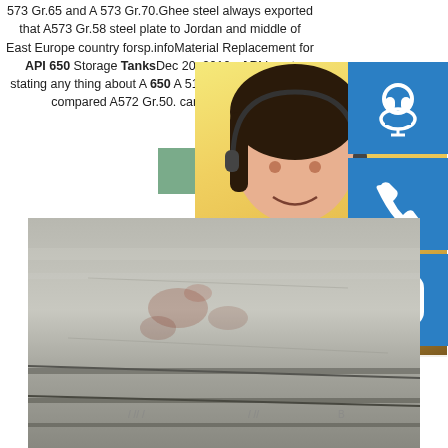573 Gr.65 and A 573 Gr.70.Ghee steel always exported that A573 Gr.58 steel plate to Jordan and middle of East Europe country forsp.infoMaterial Replacement for API 650 Storage TanksDec 20, 2010 · API is not stating any thing about A 650 A 516 Gr.70 is low grade compared A572 Gr.50. can be replaced
[Figure (photo): READ MORE button (green/teal background, white text)]
[Figure (photo): Customer service representative photo with headset, yellow background]
[Figure (photo): Blue icon box with headset/customer service icon]
[Figure (photo): Blue icon box with phone/call icon]
[Figure (photo): Blue icon box with Skype icon]
MANUAL SE... QUOTING O... bsteel1@163.com
[Figure (photo): Steel plates photo - grey metal surface with markings]